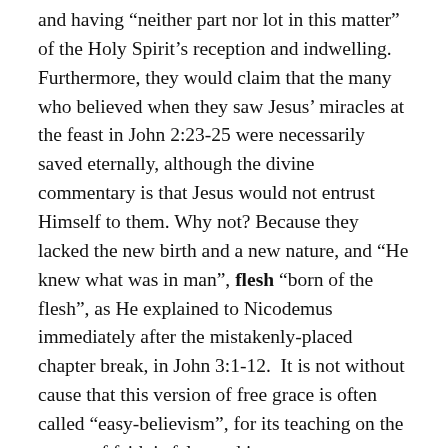and having “neither part nor lot in this matter” of the Holy Spirit’s reception and indwelling. Furthermore, they would claim that the many who believed when they saw Jesus’ miracles at the feast in John 2:23-25 were necessarily saved eternally, although the divine commentary is that Jesus would not entrust Himself to them. Why not? Because they lacked the new birth and a new nature, and “He knew what was in man”, flesh “born of the flesh”, as He explained to Nicodemus immediately after the mistakenly-placed chapter break, in John 3:1-12.  It is not without cause that this version of free grace is often called “easy-believism”, for its teaching on the nature of faith is false and in some respects humanistic.
In order for faith to save the human soul, and to keep it by the power of God to the end, that faith must be supernatural in its origin, for natural belief